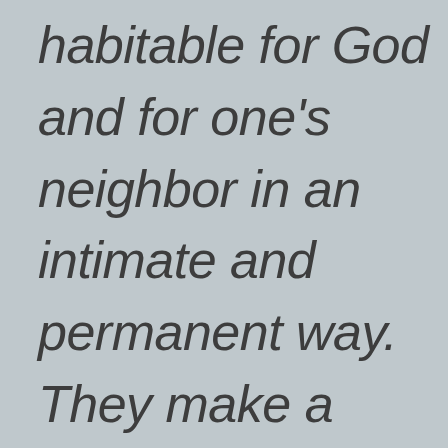habitable for God and for one's neighbor in an intimate and permanent way. They make a